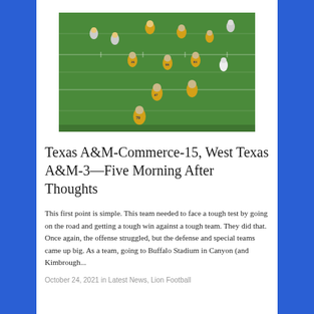[Figure (photo): Aerial/sideline view of a college football game showing players in gold and navy uniforms (Texas A&M-Commerce Lions) on a green field during a game against West Texas A&M]
Texas A&M-Commerce-15, West Texas A&M-3—Five Morning After Thoughts
This first point is simple. This team needed to face a tough test by going on the road and getting a tough win against a tough team. They did that. Once again, the offense struggled, but the defense and special teams came up big. As a team, going to Buffalo Stadium in Canyon (and Kimbrough...
October 24, 2021 in Latest News, Lion Football